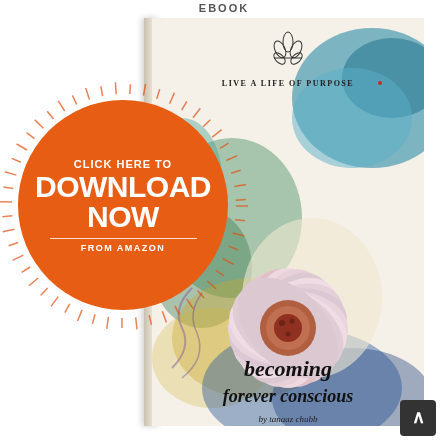EBOOK
[Figure (illustration): Book cover for 'becoming forever conscious' by Tanaaz Chubb. The cover shows a large pink and white lotus/magnolia flower with colorful watercolor background in blues, greens, and yellows. Text on cover reads 'LIVE A LIFE OF PURPOSE' at top with a lotus icon, and 'becoming forever conscious' and 'by tanaaz chubb' at bottom. The book is shown in 3D perspective with spine visible.]
[Figure (infographic): Orange circular button with starburst rays around it. Text reads 'CLICK HERE TO DOWNLOAD NOW FROM AMAZON']